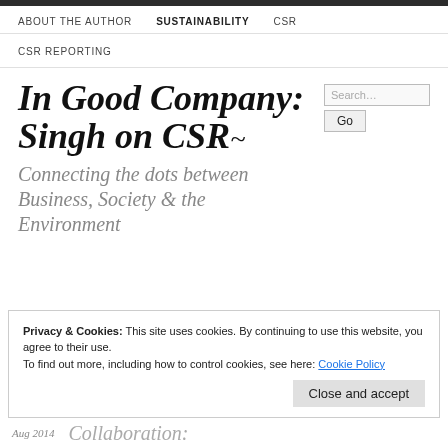ABOUT THE AUTHOR   SUSTAINABILITY   CSR
CSR REPORTING
In Good Company: Singh on CSR~
Connecting the dots between Business, Society & the Environment
Privacy & Cookies: This site uses cookies. By continuing to use this website, you agree to their use. To find out more, including how to control cookies, see here: Cookie Policy
Close and accept
Aug 2014   Collaboration: